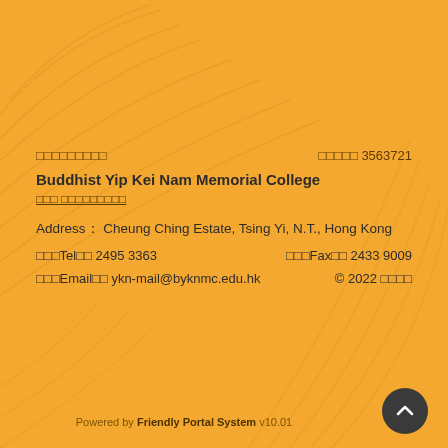□□□□□□□□□
□□□□□ 3563721
Buddhist Yip Kei Nam Memorial College
□□□ □□□□□□□□□
Address： Cheung Ching Estate, Tsing Yi, N.T., Hong Kong
□□□Tel□□ 2495 3363
□□□Fax□□ 2433 9009
□□□Email□□ ykn-mail@byknmc.edu.hk
© 2022 □□□□
Powered by Friendly Portal System v10.01